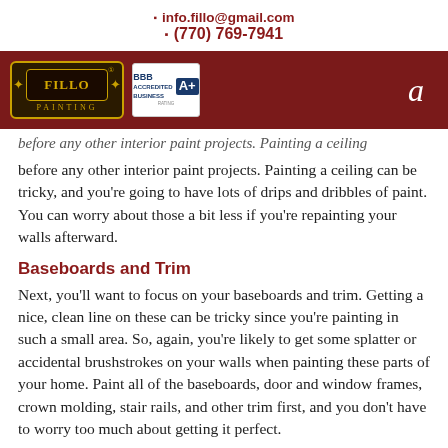info.fillo@gmail.com
(770) 769-7941
[Figure (logo): Fillo Painting logo with BBB A+ rating badge on dark red navigation bar]
before any other interior paint projects. Painting a ceiling can be tricky, and you're going to have lots of drips and dribbles of paint. You can worry about those a bit less if you're repainting your walls afterward.
Baseboards and Trim
Next, you'll want to focus on your baseboards and trim. Getting a nice, clean line on these can be tricky since you're painting in such a small area. So, again, you're likely to get some splatter or accidental brushstrokes on your walls when painting these parts of your home. Paint all of the baseboards, door and window frames, crown molding, stair rails, and other trim first, and you don't have to worry too much about getting it perfect.